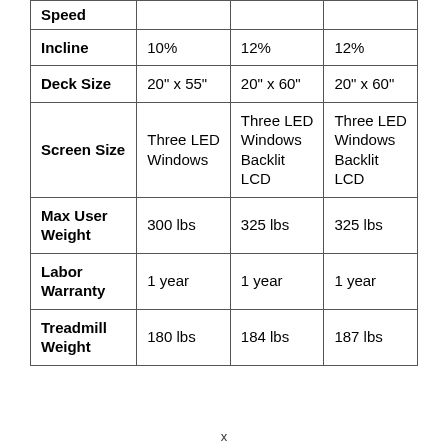| Spec | Model A | Model B | Model C |
| --- | --- | --- | --- |
| Speed |  |  |  |
| Incline | 10% | 12% | 12% |
| Deck Size | 20" x 55" | 20" x 60" | 20" x 60" |
| Screen Size | Three LED Windows | Three LED Windows Backlit LCD | Three LED Windows Backlit LCD |
| Max User Weight | 300 lbs | 325 lbs | 325 lbs |
| Labor Warranty | 1 year | 1 year | 1 year |
| Treadmill Weight | 180 lbs | 184 lbs | 187 lbs |